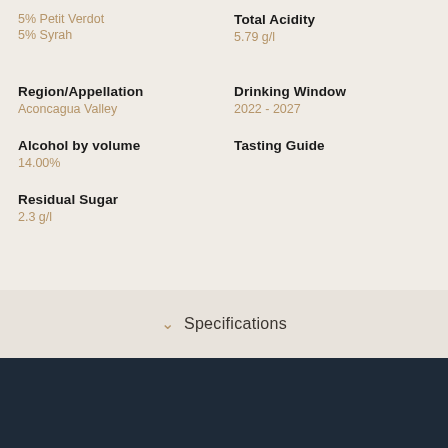5% Petit Verdot
5% Syrah
Total Acidity
5.79 g/l
Region/Appellation
Aconcagua Valley
Drinking Window
2022 - 2027
Alcohol by volume
14.00%
Tasting Guide
Residual Sugar
2.3 g/l
Specifications